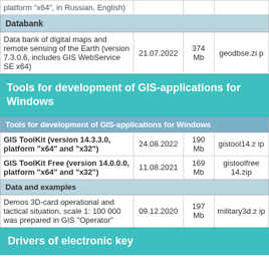| Product | Date | Size | File |
| --- | --- | --- | --- |
| platform "x64", in Russian, English) |  |  |  |
| Databank |  |  |  |
| Data bank of digital maps and remote sensing of the Earth (version 7.3.0.6, includes GIS WebService SE x64) | 21.07.2022 | 374 Mb | geodbse.zip |
| Tools for development of GIS-applications for Windows |  |  |  |
| Tools for development of GIS-applications for Windows |  |  |  |
| GIS ToolKit (version 14.3.3.0, platform "x64" and "x32") | 24.08.2022 | 190 Mb | gistool14.zip |
| GIS ToolKit Free (version 14.0.0.0, platform "x64" and "x32") | 11.08.2021 | 169 Mb | gistoolfree14.zip |
| Data and examples |  |  |  |
| Demos 3D-card operational and tactical situation, scale 1: 100 000 was prepared in GIS "Operator" | 09.12.2020 | 197 Mb | military3d.zip |
| Drivers of electronic key |  |  |  |